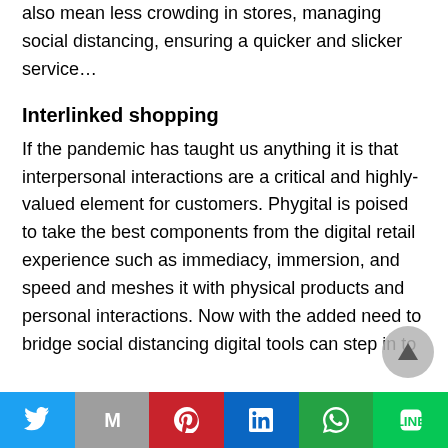also mean less crowding in stores, managing social distancing, ensuring a quicker and slicker service…
Interlinked shopping
If the pandemic has taught us anything it is that interpersonal interactions are a critical and highly-valued element for customers. Phygital is poised to take the best components from the digital retail experience such as immediacy, immersion, and speed and meshes it with physical products and personal interactions. Now with the added need to bridge social distancing digital tools can step in to
Twitter | Gmail | Pinterest | LinkedIn | WhatsApp | Line